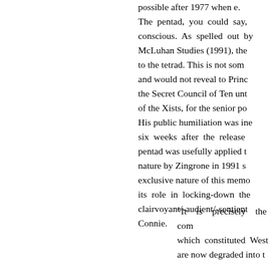possible after 1977 when e. The pentad, you could say, conscious. As spelled out by McLuhan Studies (1991), the to the tetrad. This is not som and would not reveal to Princ the Secret Council of Ten unt of the Xists, for the senior po. His public humiliation was ine six weeks after the release pentad was usefully applied t nature by Zingrone in 1991 s exclusive nature of this memo its role in locking-down the clairvoyant/-audient/-sentient Connie.
"It is precisely the com which constituted West are now degraded into t